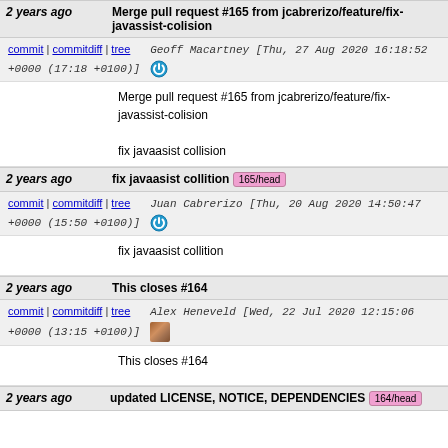2 years ago  Merge pull request #165 from jcabrerizo/feature/fix-javassist-colision
commit | commitdiff | tree   Geoff Macartney [Thu, 27 Aug 2020 16:18:52 +0000 (17:18 +0100)]
Merge pull request #165 from jcabrerizo/feature/fix-javassist-colision

fix javaasist collision
2 years ago  fix javaasist collition  165/head
commit | commitdiff | tree   Juan Cabrerizo [Thu, 20 Aug 2020 14:50:47 +0000 (15:50 +0100)]
fix javaasist collition
2 years ago  This closes #164
commit | commitdiff | tree   Alex Heneveld [Wed, 22 Jul 2020 12:15:06 +0000 (13:15 +0100)]
This closes #164
2 years ago  updated LICENSE, NOTICE, DEPENDENCIES  164/head